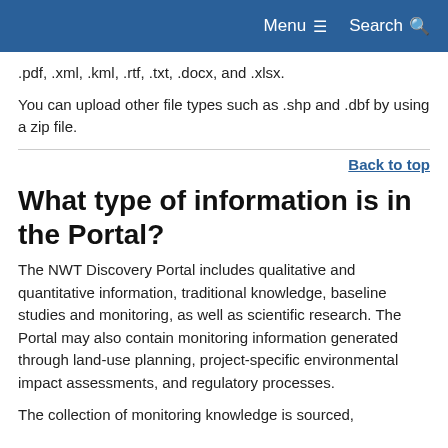Menu  Search
.pdf, .xml, .kml, .rtf, .txt, .docx, and .xlsx.
You can upload other file types such as .shp and .dbf by using a zip file.
Back to top
What type of information is in the Portal?
The NWT Discovery Portal includes qualitative and quantitative information, traditional knowledge, baseline studies and monitoring, as well as scientific research. The Portal may also contain monitoring information generated through land-use planning, project-specific environmental impact assessments, and regulatory processes.
The collection of monitoring knowledge is sourced,